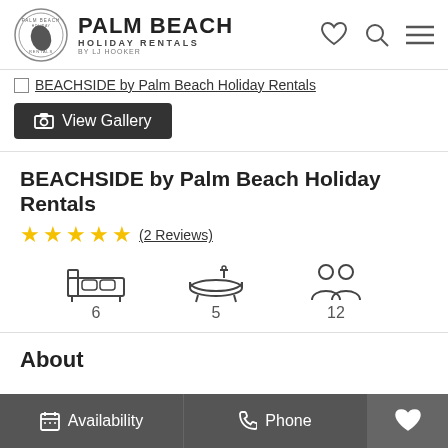PALM BEACH HOLIDAY RENTALS BY LJ HOOKER
BEACHSIDE by Palm Beach Holiday Rentals
View Gallery
BEACHSIDE by Palm Beach Holiday Rentals
★★★★★ (2 Reviews)
[Figure (infographic): Three icons: bed (6), bath (5), guests (12)]
About
Availability  Phone  ♥